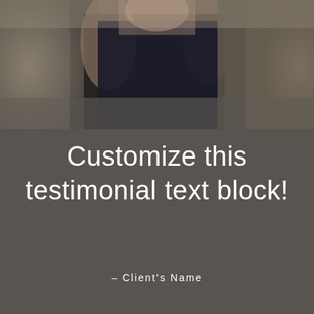[Figure (photo): Background photo of a person in dark clothing, blurred background with stone/brick texture, muted tones]
Customize this testimonial text block!
– Client's Name